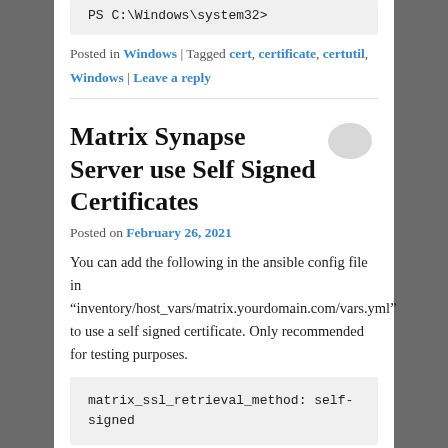PS C:\Windows\system32>
Posted in Windows | Tagged cert, certificate, certutil, Windows | Leave a reply
Matrix Synapse Server use Self Signed Certificates
Posted on February 26, 2021
You can add the following in the ansible config file in “inventory/host_vars/matrix.yourdomain.com/vars.yml” to use a self signed certificate. Only recommended for testing purposes.
matrix_ssl_retrieval_method: self-signed